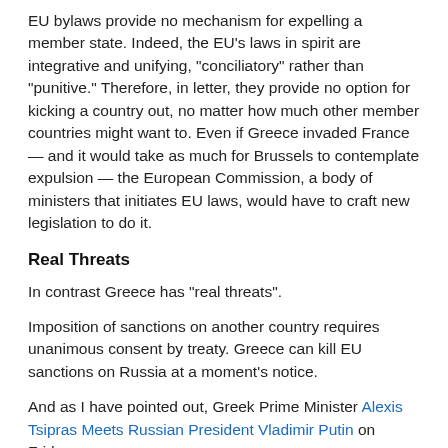EU bylaws provide no mechanism for expelling a member state. Indeed, the EU's laws in spirit are integrative and unifying, "conciliatory" rather than "punitive." Therefore, in letter, they provide no option for kicking a country out, no matter how much other member countries might want to. Even if Greece invaded France — and it would take as much for Brussels to contemplate expulsion — the European Commission, a body of ministers that initiates EU laws, would have to craft new legislation to do it.
Real Threats
In contrast Greece has "real threats".
Imposition of sanctions on another country requires unanimous consent by treaty. Greece can kill EU sanctions on Russia at a moment's notice.
And as I have pointed out, Greek Prime Minister Alexis Tsipras Meets Russian President Vladimir Putin on Friday